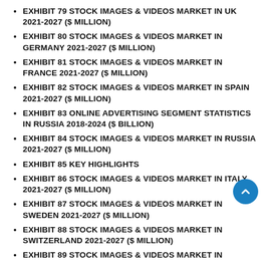EXHIBIT 79 STOCK IMAGES & VIDEOS MARKET IN UK 2021-2027 ($ MILLION)
EXHIBIT 80 STOCK IMAGES & VIDEOS MARKET IN GERMANY 2021-2027 ($ MILLION)
EXHIBIT 81 STOCK IMAGES & VIDEOS MARKET IN FRANCE 2021-2027 ($ MILLION)
EXHIBIT 82 STOCK IMAGES & VIDEOS MARKET IN SPAIN 2021-2027 ($ MILLION)
EXHIBIT 83 ONLINE ADVERTISING SEGMENT STATISTICS IN RUSSIA 2018-2024 ($ BILLION)
EXHIBIT 84 STOCK IMAGES & VIDEOS MARKET IN RUSSIA 2021-2027 ($ MILLION)
EXHIBIT 85 KEY HIGHLIGHTS
EXHIBIT 86 STOCK IMAGES & VIDEOS MARKET IN ITALY 2021-2027 ($ MILLION)
EXHIBIT 87 STOCK IMAGES & VIDEOS MARKET IN SWEDEN 2021-2027 ($ MILLION)
EXHIBIT 88 STOCK IMAGES & VIDEOS MARKET IN SWITZERLAND 2021-2027 ($ MILLION)
EXHIBIT 89 STOCK IMAGES & VIDEOS MARKET IN